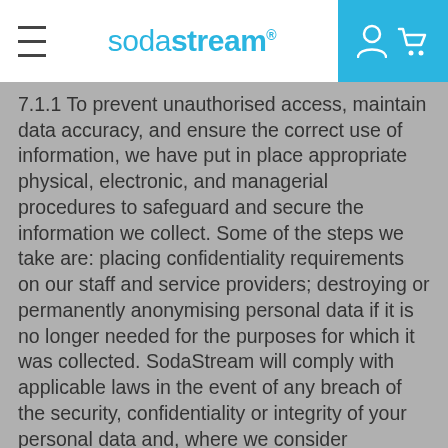sodastream®
7.1.1 To prevent unauthorised access, maintain data accuracy, and ensure the correct use of information, we have put in place appropriate physical, electronic, and managerial procedures to safeguard and secure the information we collect. Some of the steps we take are: placing confidentiality requirements on our staff and service providers; destroying or permanently anonymising personal data if it is no longer needed for the purposes for which it was collected. SodaStream will comply with applicable laws in the event of any breach of the security, confidentiality or integrity of your personal data and, where we consider appropriate or where required by applicable law, notify you via email, text or conspicuous posting on our website in the most expedient…